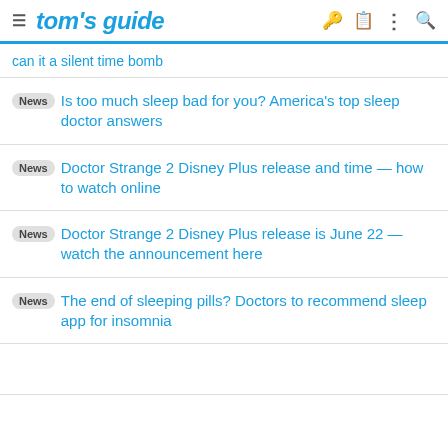tom's guide
can it a silent time bomb
News Is too much sleep bad for you? America's top sleep doctor answers
News Doctor Strange 2 Disney Plus release and time — how to watch online
News Doctor Strange 2 Disney Plus release is June 22 — watch the announcement here
News The end of sleeping pills? Doctors to recommend sleep app for insomnia